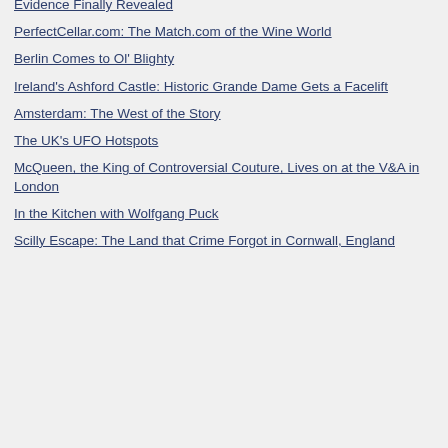Evidence Finally Revealed
PerfectCellar.com: The Match.com of the Wine World
Berlin Comes to Ol' Blighty
Ireland's Ashford Castle: Historic Grande Dame Gets a Facelift
Amsterdam: The West of the Story
The UK's UFO Hotspots
McQueen, the King of Controversial Couture, Lives on at the V&A in London
In the Kitchen with Wolfgang Puck
Scilly Escape: The Land that Crime Forgot in Cornwall, England